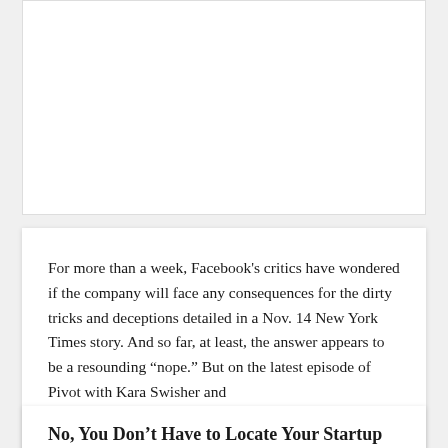[Figure (other): White card area at top of page, appears to be an image placeholder]
For more than a week, Facebook's critics have wondered if the company will face any consequences for the dirty tricks and deceptions detailed in a Nov. 14 New York Times story. And so far, at least, the answer appears to be a resounding “nope.” But on the latest episode of Pivot with Kara Swisher and
... read more
November 23, 2018
No, You Don’t Have to Locate Your Startup in the